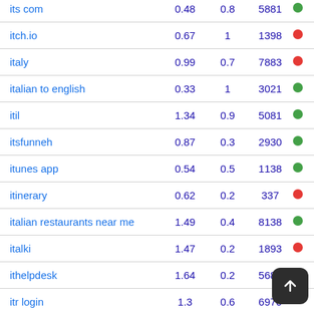| keyword | metric1 | metric2 | metric3 | indicator |
| --- | --- | --- | --- | --- |
| its com | 0.48 | 0.8 | 5881 | green |
| itch.io | 0.67 | 1 | 1398 | red |
| italy | 0.99 | 0.7 | 7883 | red |
| italian to english | 0.33 | 1 | 3021 | green |
| itil | 1.34 | 0.9 | 5081 | green |
| itsfunneh | 0.87 | 0.3 | 2930 | green |
| itunes app | 0.54 | 0.5 | 1138 | green |
| itinerary | 0.62 | 0.2 | 337 | red |
| italian restaurants near me | 1.49 | 0.4 | 8138 | green |
| italki | 1.47 | 0.2 | 1893 | red |
| ithelpdesk | 1.64 | 0.2 | 5688 | green |
| itr login | 1.3 | 0.6 | 6970 |  |